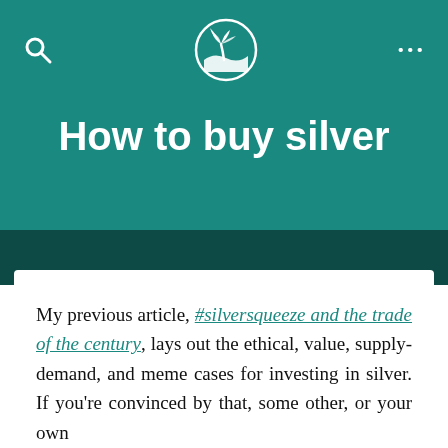How to buy silver
How to buy silver
My previous article, #silversqueeze and the trade of the century, lays out the ethical, value, supply-demand, and meme cases for investing in silver. If you're convinced by that, some other, or your own